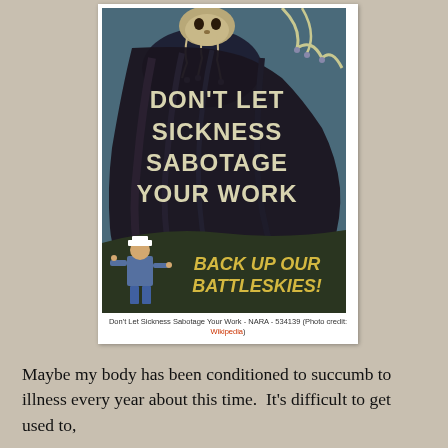[Figure (illustration): World War II era propaganda poster showing a dark menacing figure with dripping claws looming over text 'DON'T LET SICKNESS SABOTAGE YOUR WORK' and at the bottom a sailor figure with text 'BACK UP OUR BATTLESKIES!' - NARA 534139]
Don't Let Sickness Sabotage Your Work - NARA - 534139 (Photo credit: Wikipedia)
Maybe my body has been conditioned to succumb to illness every year about this time.  It's difficult to get used to,